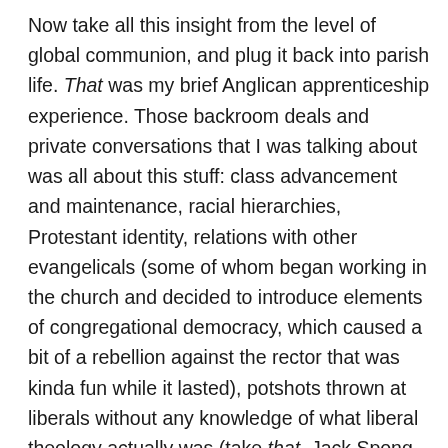Now take all this insight from the level of global communion, and plug it back into parish life. That was my brief Anglican apprenticeship experience. Those backroom deals and private conversations that I was talking about was all about this stuff: class advancement and maintenance, racial hierarchies, Protestant identity, relations with other evangelicals (some of whom began working in the church and decided to introduce elements of congregational democracy, which caused a bit of a rebellion against the rector that was kinda fun while it lasted), potshots thrown at liberals without any knowledge of what liberal theology actually was (take that, Jack Spong, although we have no idea how you do theology!), reading other people's theologies through your own theology, having parish members go to evangelical/charismatic/liberal/catholic events and coming